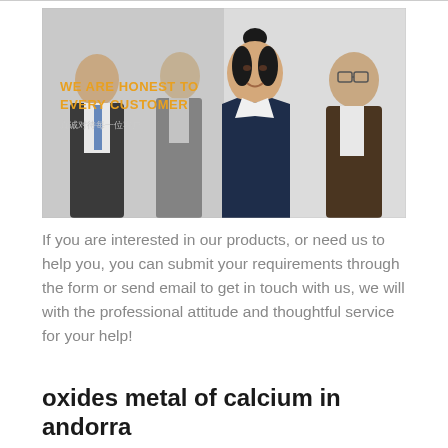[Figure (photo): Group of four business professionals (three men and one woman) in formal attire. The central woman wears a navy blazer. Text overlay reads 'WE ARE HONEST TO EVERY CUSTOMER' in gold/orange and white. Chinese characters appear below the slogan.]
If you are interested in our products, or need us to help you, you can submit your requirements through the form or send email to get in touch with us, we will with the professional attitude and thoughtful service for your help!
oxides metal of calcium in andorra